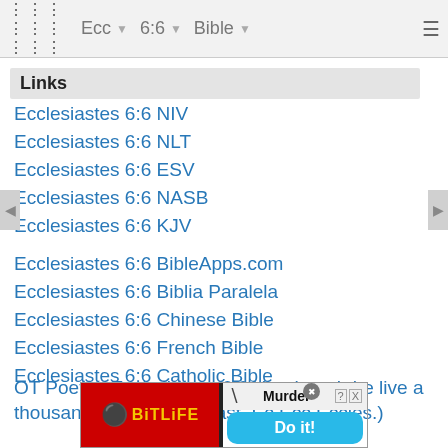Ecc  6:6  Bible
Links
Ecclesiastes 6:6 NIV
Ecclesiastes 6:6 NLT
Ecclesiastes 6:6 ESV
Ecclesiastes 6:6 NASB
Ecclesiastes 6:6 KJV
Ecclesiastes 6:6 BibleApps.com
Ecclesiastes 6:6 Biblia Paralela
Ecclesiastes 6:6 Chinese Bible
Ecclesiastes 6:6 French Bible
Ecclesiastes 6:6 Catholic Bible
OT Poetry: Ecclesiastes 6:6 Yes though he live a thousand years (Ecclesiast. Ec Ecc Eccles.)
[Figure (screenshot): BitLife mobile game advertisement banner showing red left panel with sperm logo and 'BitLife' text, right panel with 'Murder - Do it!' button]